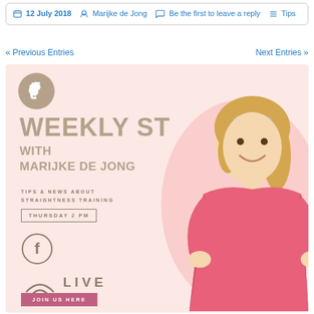📅 12 July 2018  👤 Marijke de Jong  💬 Be the first to leave a reply  ≡ Tips
« Previous Entries
Next Entries »
[Figure (illustration): Promotional banner for 'Weekly ST with Marijke de Jong — Tips & News About Straightness Training, Thursday 2 PM, Live on Facebook. Join Us Here.' Features a woman in a pink shirt, a horse logo, Facebook icon, wifi/live icon, and a pink join button on a light pink background.]